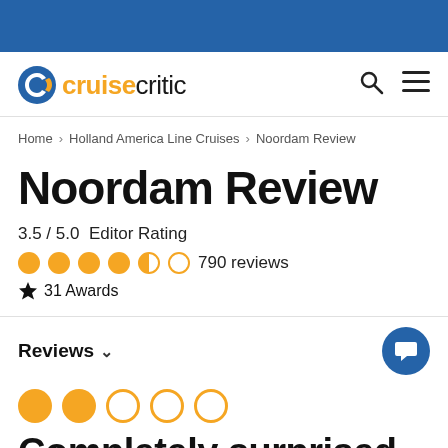[Figure (logo): Cruise Critic logo with orange C icon and text]
Home › Holland America Line Cruises › Noordam Review
Noordam Review
3.5 / 5.0  Editor Rating
●●●●◑○ 790 reviews
🏆 31 Awards
Reviews ∨
●● ○○○
Completely surprised (partial, cut off)